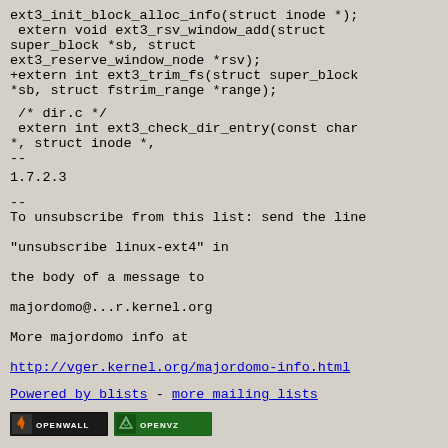ext3_init_block_alloc_info(struct inode *);
 extern void ext3_rsv_window_add(struct super_block *sb, struct ext3_reserve_window_node *rsv);
+extern int ext3_trim_fs(struct super_block *sb, struct fstrim_range *range);
/* dir.c */
 extern int ext3_check_dir_entry(const char *, struct inode *,
--
1.7.2.3
--
To unsubscribe from this list: send the line
"unsubscribe linux-ext4" in
the body of a message to
majordomo@...r.kernel.org
More majordomo info at
http://vger.kernel.org/majordomo-info.html
Powered by blists - more mailing lists
[Figure (logo): Openwall logo badge - black background with orange flame icon and OPENWALL text in white]
[Figure (logo): OpenVZ logo badge - green background with triangle knot icon and OPENVZ text in white]